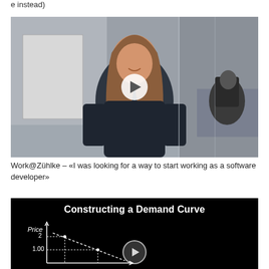e instead)
[Figure (photo): Video thumbnail showing a smiling woman with long hair standing in an office environment with glass walls. A white circular play button is centered on the image.]
Work@Zühlke – «I was looking for a way to start working as a software developer»
[Figure (screenshot): Video thumbnail with black background showing title 'Constructing a Demand Curve' in white bold text. Below is a hand-drawn graph with 'Price' label on y-axis and values like 2 and 1.00 marked, with a downward-sloping dashed demand curve. A circular play button appears at the bottom center.]